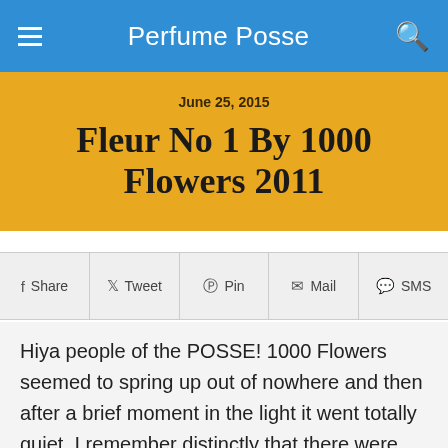Perfume Posse
June 25, 2015
Fleur No 1 By 1000 Flowers 2011
Share  Tweet  Pin  Mail  SMS
Hiya people of the POSSE! 1000 Flowers seemed to spring up out of nowhere and then after a brief moment in the light it went totally quiet. I remember distinctly that there were two amazing, critical success fragrances and then it felt like zip. When I went to have a look at the 1000 Flowers website though it seems to be humming along nicely and there are six